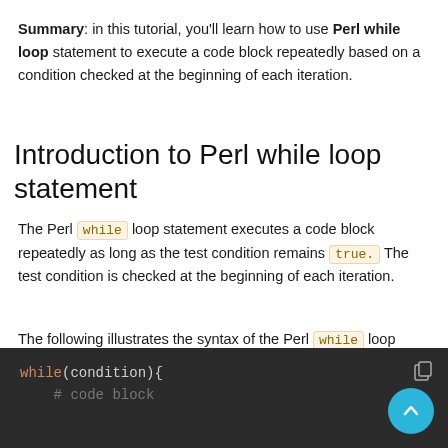Summary: in this tutorial, you'll learn how to use Perl while loop statement to execute a code block repeatedly based on a condition checked at the beginning of each iteration.
Introduction to Perl while loop statement
The Perl while loop statement executes a code block repeatedly as long as the test condition remains true. The test condition is checked at the beginning of each iteration.
The following illustrates the syntax of the Perl while loop statement:
[Figure (screenshot): Dark code block showing Perl while loop syntax: while(condition){ # code block]